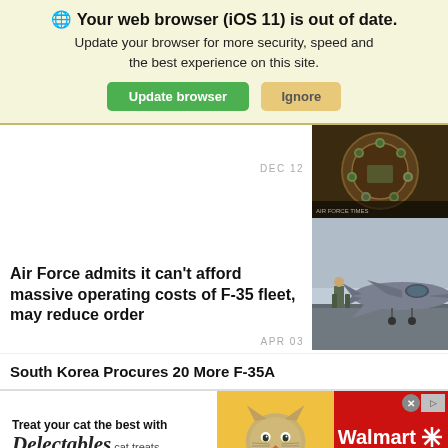🌐 Your web browser (iOS 11) is out of date. Update your browser for more security, speed and the best experience on this site. Update browser | Ignore
DEC 12
[Figure (photo): Military personnel in camouflage gear gathered around a circular table, overhead view]
Air Force admits it can't afford massive operating costs of F-35 fleet, may reduce order
APR 03
[Figure (photo): A military person in uniform standing in front of an F-35 fighter jet on a tarmac]
South Korea Procures 20 More F-35A
[Figure (photo): Walmart advertisement: Treat your cat the best with Delectables cat treats, featuring a cat photo and Walmart logo]